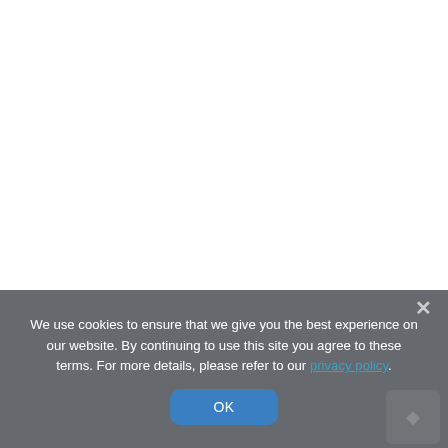We use cookies to ensure that we give you the best experience on our website. By continuing to use this site you agree to these terms. For more details, please refer to our privacy policy.
OK